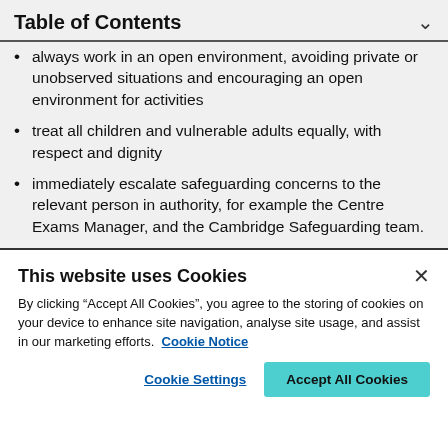Table of Contents
always work in an open environment, avoiding private or unobserved situations and encouraging an open environment for activities
treat all children and vulnerable adults equally, with respect and dignity
immediately escalate safeguarding concerns to the relevant person in authority, for example the Centre Exams Manager, and the Cambridge Safeguarding team.
This website uses Cookies
By clicking “Accept All Cookies”, you agree to the storing of cookies on your device to enhance site navigation, analyse site usage, and assist in our marketing efforts. Cookie Notice